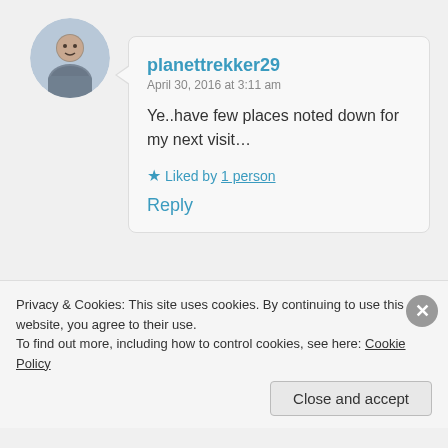[Figure (illustration): Round avatar photo of a man in grey shirt]
planettrekker29
April 30, 2016 at 3:11 am

Ye..have few places noted down for my next visit…

★ Liked by 1 person

Reply
[Figure (illustration): Round avatar photo of a woman with sunglasses outdoors]
Holiday Season
April 30, 2016 at 6:01 am
Privacy & Cookies: This site uses cookies. By continuing to use this website, you agree to their use.
To find out more, including how to control cookies, see here: Cookie Policy

Close and accept